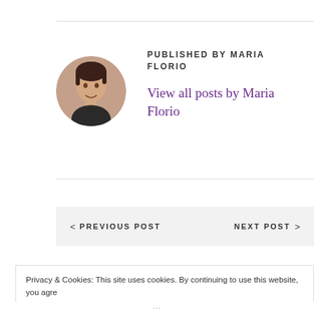PUBLISHED BY MARIA FLORIO
View all posts by Maria Florio
< PREVIOUS POST   NEXT POST >
Privacy & Cookies: This site uses cookies. By continuing to use this website, you agree to their use.
To find out more, including how to control cookies, see here: Our Cookie Policy
Close and accept
···